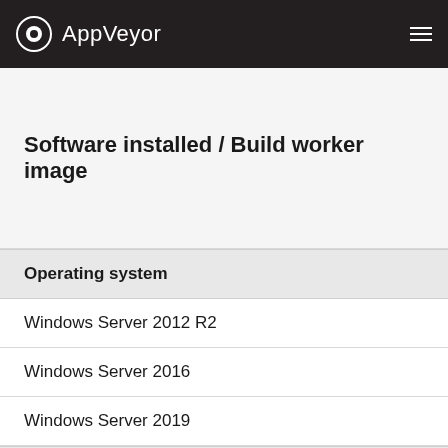AppVeyor
Software installed / Build worker image
Operating system
Windows Server 2012 R2
Windows Server 2016
Windows Server 2019
PowerShell
Windows PowerShell 5.1
PowerShell Core